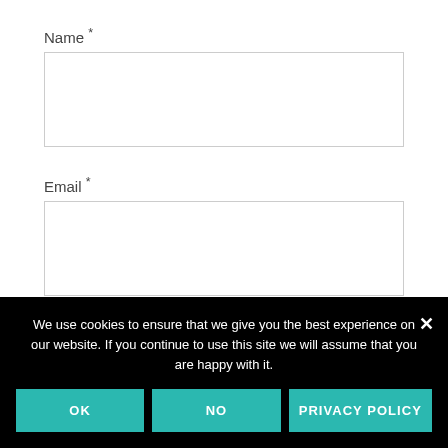Name *
Email *
Website
Notify me of follow-up comments by email
We use cookies to ensure that we give you the best experience on our website. If you continue to use this site we will assume that you are happy with it.